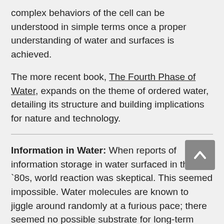complex behaviors of the cell can be understood in simple terms once a proper understanding of water and surfaces is achieved.
The more recent book, The Fourth Phase of Water, expands on the theme of ordered water, detailing its structure and building implications for nature and technology.
Information in Water:
When reports of information storage in water surfaced in the late `80s, world reaction was skeptical. This seemed impossible. Water molecules are known to jiggle around randomly at a furious pace; there seemed no possible substrate for long-term memory.
That changed with the advent of EZ water. The structural lattice is essentially fixed. Oxygen and hydrogen atoms lodge...